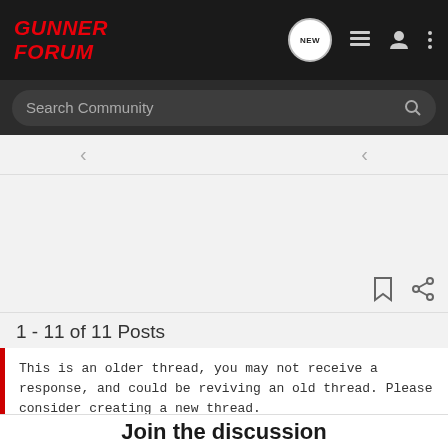GUNNER FORUM
Search Community
1 - 11 of 11 Posts
This is an older thread, you may not receive a response, and could be reviving an old thread. Please consider creating a new thread.
Join the discussion
[Figure (photo): Advertisement banner: 'THE BEST STORIES START WITH SAVAGE' with image of a hunter in winter gear]